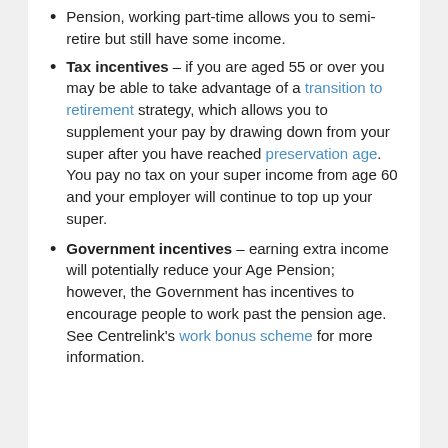Pension, working part-time allows you to semi-retire but still have some income.
Tax incentives – if you are aged 55 or over you may be able to take advantage of a transition to retirement strategy, which allows you to supplement your pay by drawing down from your super after you have reached preservation age. You pay no tax on your super income from age 60 and your employer will continue to top up your super.
Government incentives – earning extra income will potentially reduce your Age Pension; however, the Government has incentives to encourage people to work past the pension age. See Centrelink's work bonus scheme for more information.